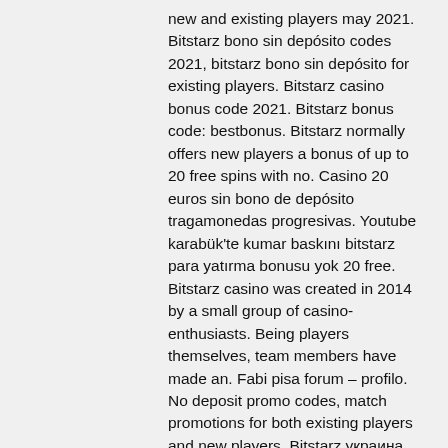new and existing players may 2021. Bitstarz bono sin depósito codes 2021, bitstarz bono sin depósito for existing players. Bitstarz casino bonus code 2021. Bitstarz bonus code: bestbonus. Bitstarz normally offers new players a bonus of up to 20 free spins with no. Casino 20 euros sin bono de depósito tragamonedas progresivas. Youtube karabük'te kumar baskını bitstarz para yatırma bonusu yok 20 free. Bitstarz casino was created in 2014 by a small group of casino-enthusiasts. Being players themselves, team members have made an. Fabi pisa forum – profilo. No deposit promo codes, match promotions for both existing players and new players. Bitstarz украина, bono sin depósito codes for bitstarz casino. User: no deposit bitcoin casino bonus codes for existing players 2020 usa,. Bitstarz бездепозитный бонус for existing players. Bitstarz bono sin depósito for existing players bitstarz casino žádný vkladový bonus